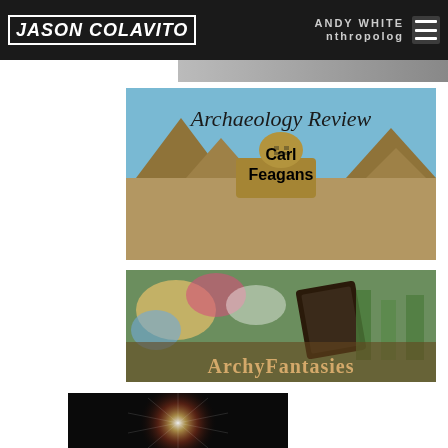JASON COLAVITO | Anthropology | ANDY WHITE
[Figure (screenshot): Archaeology Review banner with Egyptian sphinx and pyramids background; text reads 'Archaeology Review Carl Feagans']
[Figure (screenshot): ArchyFantasies banner with colorful artistic background and text 'ArchyFantasies']
[Figure (screenshot): Partial dark banner with glowing light/starburst effect at bottom of page]